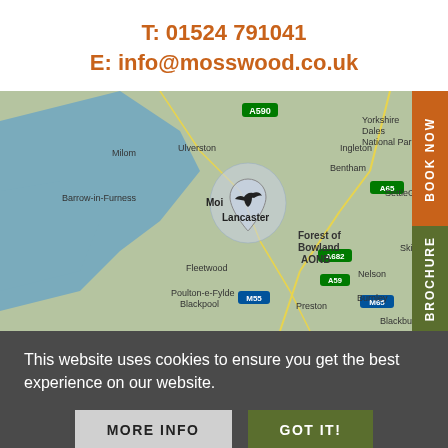T: 01524 791041
E: info@mosswood.co.uk
[Figure (map): Google Maps screenshot showing Lancaster area in northwest England, with location pin marker near Lancaster/Morecambe Bay area. Shows surrounding regions including Barrow-in-Furness, Yorkshire Dales National Park, Forest of Bowland AONB, Fleetwood, Blackpool, Preston. Orange BOOK NOW tab and green BROCHURE tab on right side.]
This website uses cookies to ensure you get the best experience on our website.
MORE INFO
GOT IT!